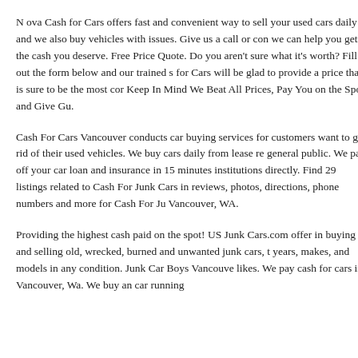N ova Cash for Cars offers fast and convenient way to sell your used cars daily and we also buy vehicles with issues. Give us a call or con we can help you get the cash you deserve. Free Price Quote. Do you aren't sure what it's worth? Fill out the form below and our trained s for Cars will be glad to provide a price that is sure to be the most cor Keep In Mind We Beat All Prices, Pay You on the Spot and Give Gu.
Cash For Cars Vancouver conducts car buying services for customers want to get rid of their used vehicles. We buy cars daily from lease re general public. We pay off your car loan and insurance in 15 minutes institutions directly. Find 29 listings related to Cash For Junk Cars in reviews, photos, directions, phone numbers and more for Cash For Ju Vancouver, WA.
Providing the highest cash paid on the spot! US Junk Cars.com offer in buying and selling old, wrecked, burned and unwanted junk cars, t years, makes, and models in any condition. Junk Car Boys Vancouve likes. We pay cash for cars in Vancouver, Wa. We buy an car running